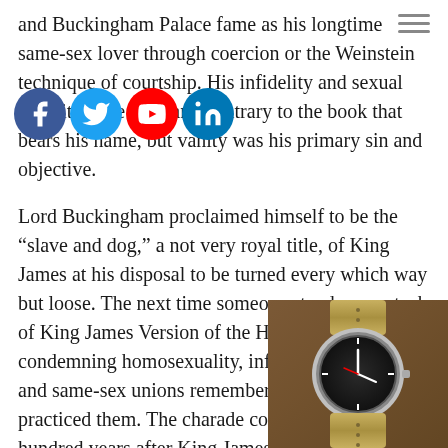and Buckingham Palace fame as his longtime same-sex lover through coercion or the Weinstein technique of courtship. His infidelity and sexual appetite were rampant, contrary to the book that bears his name, but vanity was his primary sin and objective.
[Figure (infographic): Row of four social media icon circles: Facebook (blue), Twitter (blue), YouTube (red with play button), LinkedIn (blue)]
[Figure (infographic): Hamburger menu icon (three horizontal lines) in top right corner]
Lord Buckingham proclaimed himself to be the “slave and dog,” a not very royal title, of King James at his disposal to be turned every which way but loose. The next time someone stands on a stack of King James Version of the Holy Bible condemning homosexuality, infidelity, fornication, and same-sex unions remember he openly practiced them. The charade continues nearly four hundred years after King James’ demise.
[Figure (photo): Photo of a vintage watch with dark dial on a khaki/tan NATO strap, lying on a wooden surface, partially overlapping the bottom-right of the text.]